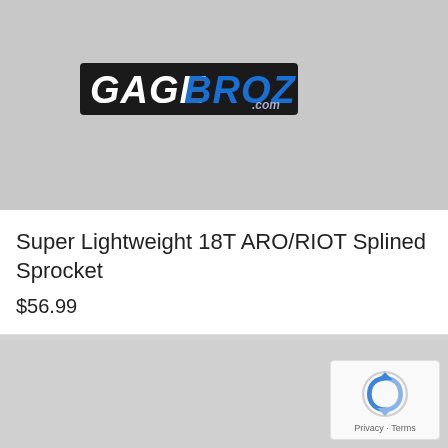[Figure (logo): GageBroz.com logo with white and blue text on dark background]
Super Lightweight 18T ARO/RIOT Splined Sprocket
$56.99
[Figure (logo): Google reCAPTCHA badge with Privacy and Terms links]